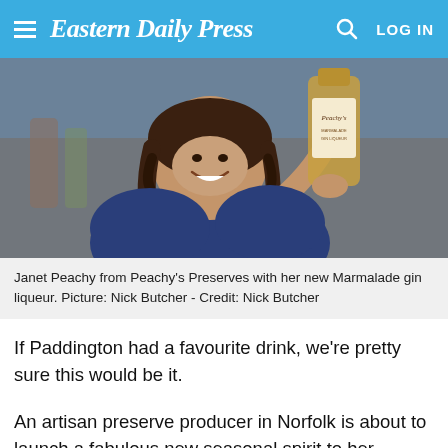Eastern Daily Press  LOG IN
[Figure (photo): Woman smiling and holding up a bottle of Peachy's gin liqueur]
Janet Peachy from Peachy's Preserves with her new Marmalade gin liqueur. Picture: Nick Butcher - Credit: Nick Butcher
If Paddington had a favourite drink, we're pretty sure this would be it.
An artisan preserve producer in Norfolk is about to launch a fabulous new seasonal spirit to her collection.